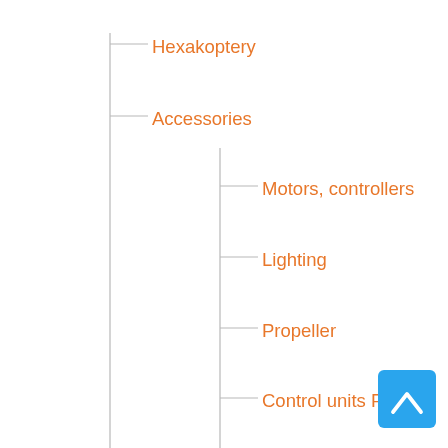[Figure (organizational-chart): A vertical tree/hierarchy diagram showing drone product categories. Items are connected by gray horizontal and vertical lines. All text is in orange. Top-level items: Hexakoptery, Accessories. Under Accessories: Motors controllers, Lighting, Propeller, Control units PROFI, Other, dataloggers, Photo (with sub-items video HOBBY and video PRO), Control units HOBBY, chassis, cameras, FPV. A blue scroll-to-top button appears at bottom right.]
Hexakoptery
Accessories
Motors, controllers
Lighting
Propeller
Control units PROFI
Other
dataloggers
Photo
video HOBBY
video PRO
Control units HOBBY
chassis
cameras
FPV